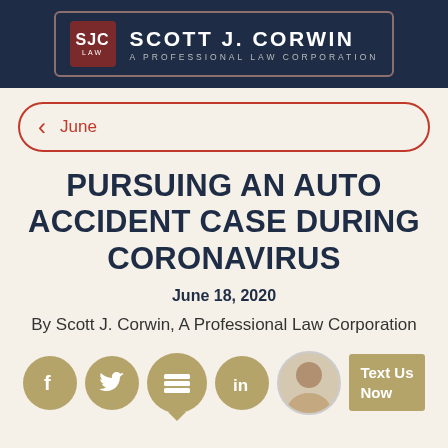Scott J. Corwin A Professional Law Corporation
June
PURSUING AN AUTO ACCIDENT CASE DURING CORONAVIRUS
June 18, 2020
By Scott J. Corwin, A Professional Law Corporation
[Figure (other): Social media icons row: Facebook, Twitter, chat/message bubble, LinkedIn, attorney photo avatar, and a Text Us Now CTA button]